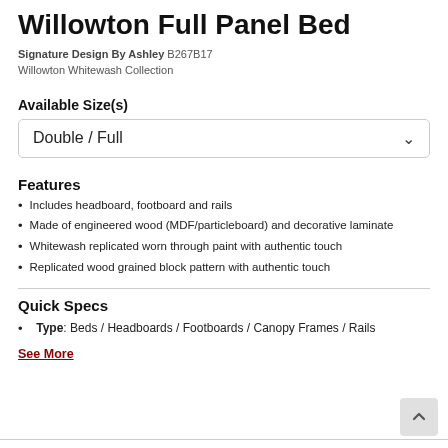Willowton Full Panel Bed
Signature Design By Ashley B267B17
Willowton Whitewash Collection
Available Size(s)
Double / Full
Features
Includes headboard, footboard and rails
Made of engineered wood (MDF/particleboard) and decorative laminate
Whitewash replicated worn through paint with authentic touch
Replicated wood grained block pattern with authentic touch
Quick Specs
Type: Beds / Headboards / Footboards / Canopy Frames / Rails
See More